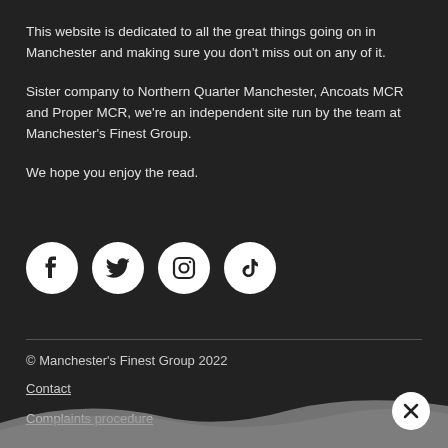This website is dedicated to all the great things going on in Manchester and making sure you don't miss out on any of it.
Sister company to Northern Quarter Manchester, Ancoats MCR and Proper MCR, we're an independent site run by the team at Manchester's Finest Group.
We hope you enjoy the read.
[Figure (infographic): Four social media icons in white circles on dark background: Facebook, Twitter, Instagram, TikTok]
© Manchester's Finest Group 2022
Contact
Complaints procedure